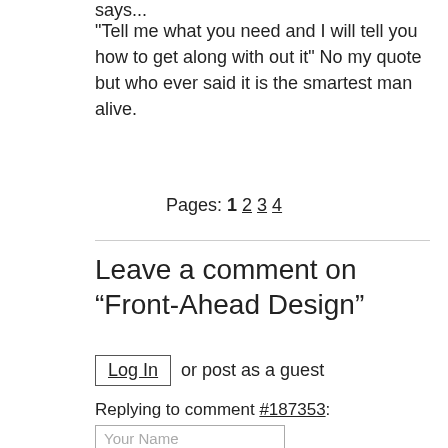says...
"Tell me what you need and I will tell you how to get along with out it" No my quote but who ever said it is the smartest man alive.
Pages: 1 2 3 4
Leave a comment on “Front-Ahead Design”
Log In or post as a guest
Replying to comment #187353:
Your Name